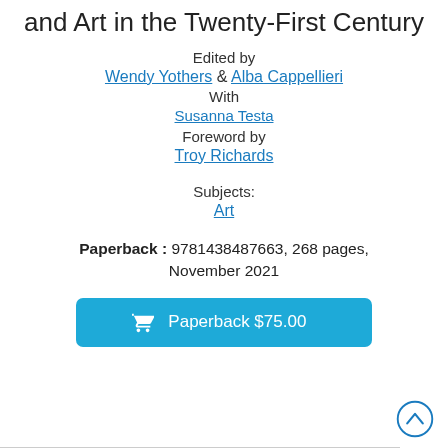and Art in the Twenty-First Century
Edited by
Wendy Yothers & Alba Cappellieri
With
Susanna Testa
Foreword by
Troy Richards
Subjects:
Art
Paperback : 9781438487663, 268 pages, November 2021
Paperback $75.00